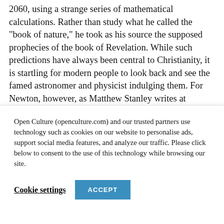2060, using a strange series of mathematical calculations. Rather than study what he called the “book of nature,” he took as his source the supposed prophecies of the book of Revelation. While such predictions have always been central to Christianity, it is startling for modern people to look back and see the famed astronomer and physicist indulging them. For Newton, however, as Matthew Stanley writes at Science, “laying the foundation of modern physics and astronomy was a bit of a sideshow. He believed that his
Open Culture (openculture.com) and our trusted partners use technology such as cookies on our website to personalise ads, support social media features, and analyze our traffic. Please click below to consent to the use of this technology while browsing our site.
Cookie settings
ACCEPT